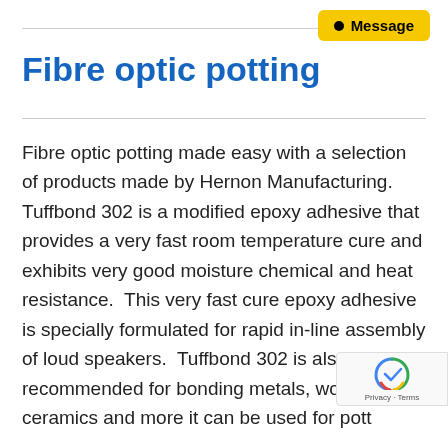Message
Fibre optic potting
Fibre optic potting made easy with a selection of products made by Hernon Manufacturing. Tuffbond 302 is a modified epoxy adhesive that provides a very fast room temperature cure and exhibits very good moisture chemical and heat resistance.  This very fast cure epoxy adhesive is specially formulated for rapid in-line assembly of loud speakers.  Tuffbond 302 is also recommended for bonding metals, wood, ceramics and more it can be used for potting and the encapsulation of electronic